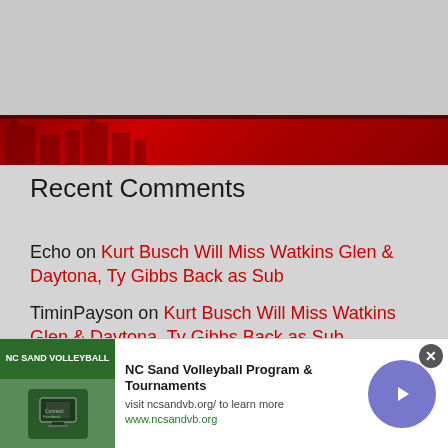[Figure (photo): Top gray banner area with website header]
[Figure (photo): Red decorative stripe with building silhouette]
Recent Comments
Echo on Kurt Busch Will Miss Watkins Glen & Daytona, Ty Gibbs Back as Sub
TiminPayson on Kurt Busch Will Miss Watkins Glen & Daytona, Ty Gibbs Back as Sub
Bill B on Kurt Busch Will Miss Watkins Glen & Daytona, Ty Gibbs Back as Sub
Echo on 2-Headed Monster: Is Kevin Harvick
[Figure (screenshot): Ad banner: NC Sand Volleyball Program & Tournaments. Visit ncsandvb.org/ to learn more. www.ncsandvb.org]